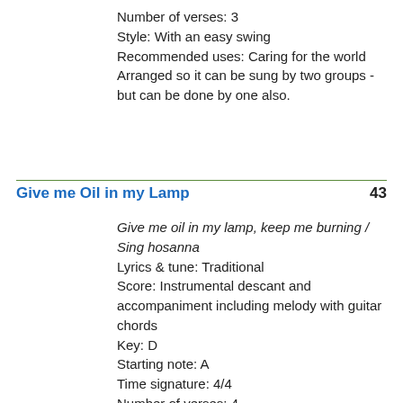Number of verses: 3
Style: With an easy swing
Recommended uses: Caring for the world
Arranged so it can be sung by two groups - but can be done by one also.
Give me Oil in my Lamp   43
Give me oil in my lamp, keep me burning / Sing hosanna
Lyrics & tune: Traditional
Score: Instrumental descant and accompaniment including melody with guitar chords
Key: D
Starting note: A
Time signature: 4/4
Number of verses: 4
Style: Brightly
Recommended uses: The journey of life